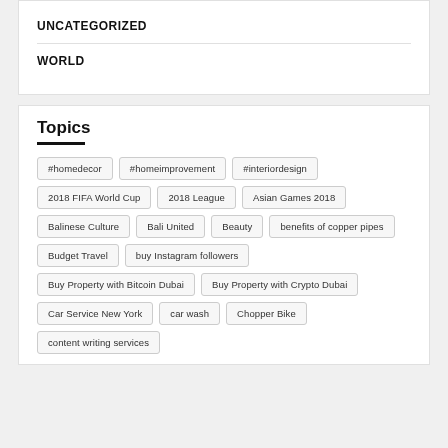UNCATEGORIZED
WORLD
Topics
#homedecor
#homeimprovement
#interiordesign
2018 FIFA World Cup
2018 League
Asian Games 2018
Balinese Culture
Bali United
Beauty
benefits of copper pipes
Budget Travel
buy Instagram followers
Buy Property with Bitcoin Dubai
Buy Property with Crypto Dubai
Car Service New York
car wash
Chopper Bike
content writing services